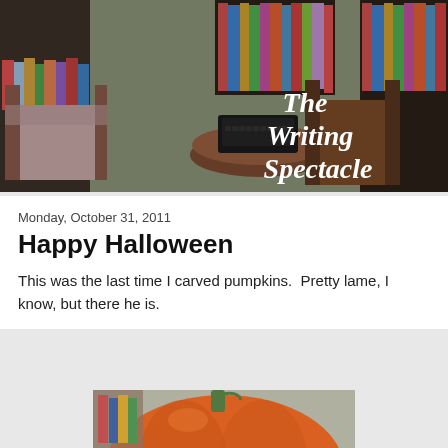[Figure (photo): Banner photo of a library/reading room with bookshelves, chairs, a typewriter on a round table, with text overlay reading 'The Writing Spectacle' in white italic font]
Monday, October 31, 2011
Happy Halloween
This was the last time I carved pumpkins.  Pretty lame, I know, but there he is.
[Figure (photo): Photo of a large orange pumpkin with a green stem, partially visible at bottom of page]